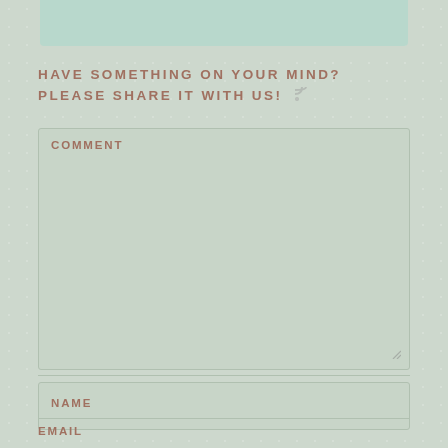[Figure (other): Top decorative green/teal bar element at the top of the page]
HAVE SOMETHING ON YOUR MIND? PLEASE SHARE IT WITH US!
COMMENT
NAME
EMAIL